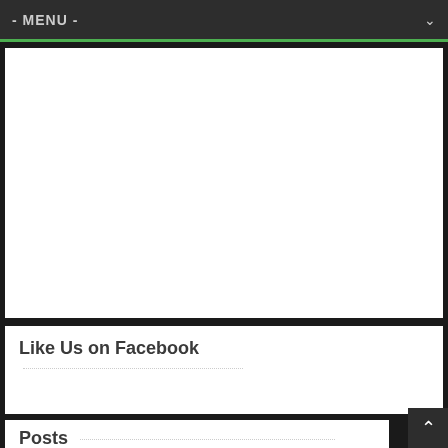- MENU -
[Figure (other): Empty white content area / advertisement placeholder]
Like Us on Facebook
Posts